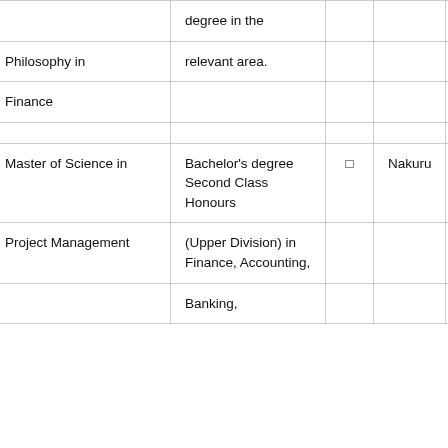|  | degree in the |  |  |  |
| Philosophy in | relevant area. |  |  |  |
| Finance |  |  |  |  |
|  |  |  |  |  |
| Master of Science in | Bachelor's degree Second Class Honours | □ | Nakuru | 65,000 |
| Project Management | (Upper Division) in Finance, Accounting, |  |  |  |
|  | Banking, |  |  |  |